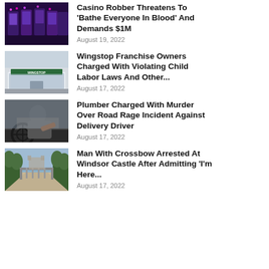[Figure (photo): Interior of a casino with slot machines and purple lighting]
Casino Robber Threatens To ‘Bathe Everyone In Blood’ And Demands $1M
August 19, 2022
[Figure (photo): Exterior of a Wingstop restaurant storefront]
Wingstop Franchise Owners Charged With Violating Child Labor Laws And Other...
August 17, 2022
[Figure (photo): Man driving a car aggressively, seen from inside the vehicle]
Plumber Charged With Murder Over Road Rage Incident Against Delivery Driver
August 17, 2022
[Figure (photo): Tree-lined path leading to Windsor Castle gates]
Man With Crossbow Arrested At Windsor Castle After Admitting ‘I’m Here...
August 17, 2022